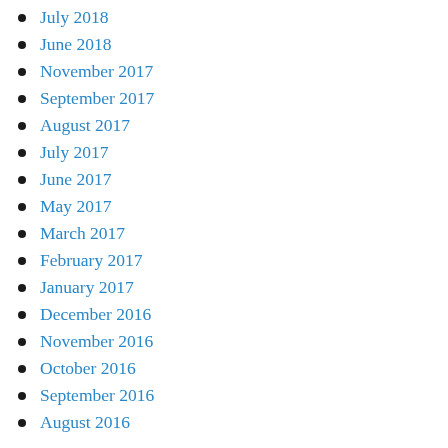July 2018
June 2018
November 2017
September 2017
August 2017
July 2017
June 2017
May 2017
March 2017
February 2017
January 2017
December 2016
November 2016
October 2016
September 2016
August 2016